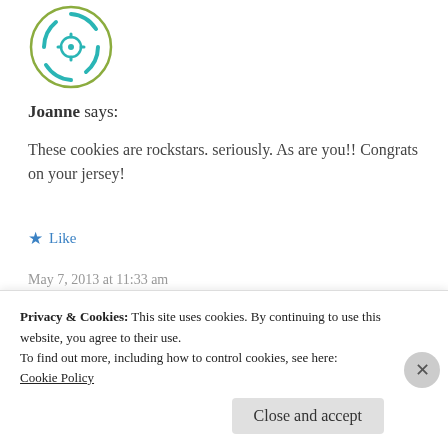[Figure (logo): Circular avatar icon with teal/turquoise geometric pattern on white background with olive green border]
Joanne says:
These cookies are rockstars. seriously. As are you!! Congrats on your jersey!
★ Like
May 7, 2013 at 11:33 am
« REPLY
[Figure (logo): Partial circular avatar icon with olive green border, partially visible]
Privacy & Cookies: This site uses cookies. By continuing to use this website, you agree to their use.
To find out more, including how to control cookies, see here:
Cookie Policy
Close and accept